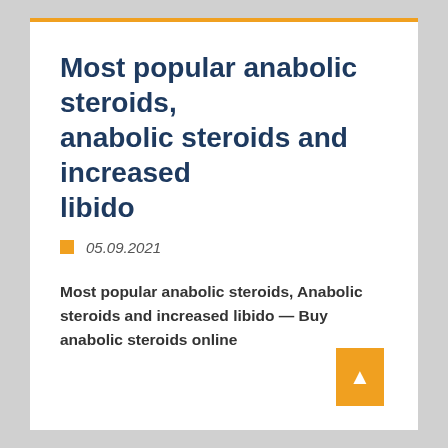Most popular anabolic steroids, anabolic steroids and increased libido
05.09.2021
Most popular anabolic steroids, Anabolic steroids and increased libido — Buy anabolic steroids online